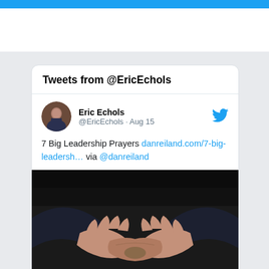[Figure (screenshot): Twitter/social media embed widget showing tweets from @EricEchols]
Tweets from @EricEchols
Eric Echols @EricEchols · Aug 15
7 Big Leadership Prayers danreiland.com/7-big-leadersh… via @danreiland
[Figure (photo): Photo of hands held open in a cupped prayer position, person wearing dark clothing, dark background]